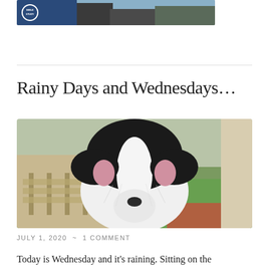[Figure (photo): Top banner image showing a blue background with a circular badge/logo and text reading 'BIBLE STUDY', with a rocky/outdoor scene visible on the right portion]
[Figure (photo): Close-up photo of a black and white dog (appears to be a Border Collie) viewed from above, with the dog looking out toward wooden Adirondack chairs and a green lawn in the background]
Rainy Days and Wednesdays…
JULY 1, 2020  ~  1 COMMENT
Today is Wednesday and it's raining. Sitting on the